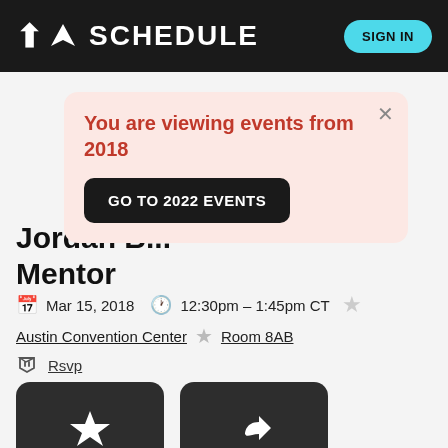K SCHEDULE   SIGN IN
You are viewing events from 2018
GO TO 2022 EVENTS
Jordan B... Mentor
Mar 15, 2018   12:30pm – 1:45pm CT
Austin Convention Center   Room 8AB
Rsvp
[Figure (illustration): Favorite button with star icon]
[Figure (illustration): Share button with share icon]